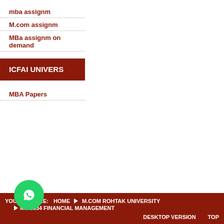mba assignm
M.com assignm
MBa assignm on demand
[Figure (other): ICFAI UNIVERS banner button in dark red]
MBA Papers
YOU ARE HERE: HOME > M.COM ROHTAK UNIVERSITY > MS 2034 FINANCIAL MANAGEMENT    DESKTOP VERSION    TOP